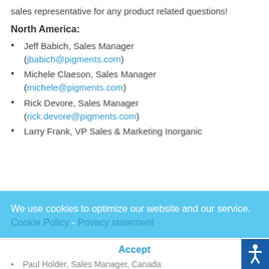sales representative for any product related questions!
North America:
Jeff Babich, Sales Manager (jbabich@pigments.com)
Michele Claeson, Sales Manager (michele@pigments.com)
Rick Devore, Sales Manager (rick.devore@pigments.com)
Larry Frank, VP Sales & Marketing Inorganic
We use cookies to optimize our website and our service.  Cookie Policy  -  Privacy statement
Accept
Paul Holder, Sales Manager, Canada